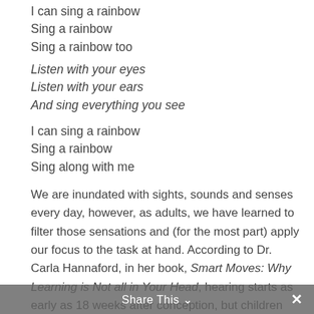I can sing a rainbow
Sing a rainbow
Sing a rainbow too
Listen with your eyes
Listen with your ears
And sing everything you see
I can sing a rainbow
Sing a rainbow
Sing along with me
We are inundated with sights, sounds and senses every day, however, as adults, we have learned to filter those sensations and (for the most part) apply our focus to the task at hand. According to Dr. Carla Hannaford, in her book, Smart Moves: Why Learning is Not all in Your Head, hearing starts as early as 18 weeks after conception, but children don't have the experience to know what to tune in to and what to tune out. Sometimes it may seem like they're not
Share This ∨  ✕